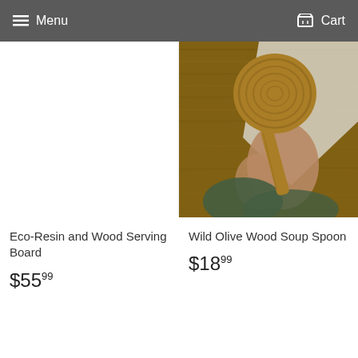Menu  Cart
[Figure (photo): Left product card image area - blank/white for Eco-Resin and Wood Serving Board]
[Figure (photo): Photo of a hand holding a Wild Olive Wood Soup Spoon with a white cloth, on a wooden background]
Eco-Resin and Wood Serving Board
$55.99
Wild Olive Wood Soup Spoon
$18.99